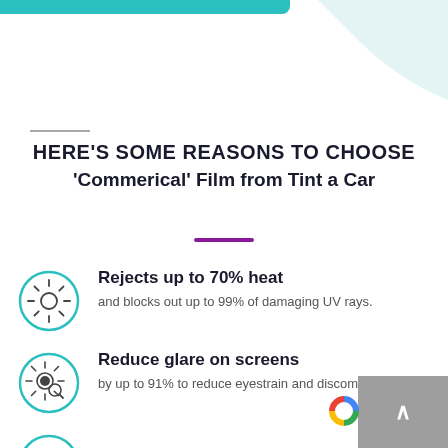HERE'S SOME REASONS TO CHOOSE 'Commerical' Film from Tint a Car
Rejects up to 70% heat — and blocks out up to 99% of damaging UV rays.
Reduce glare on screens — by up to 91% to reduce eyestrain and discomfort.